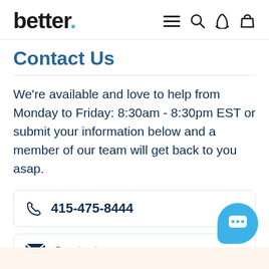better. ≡ 🔍 📞 🛍
Contact Us
We're available and love to help from Monday to Friday: 8:30am - 8:30pm EST or submit your information below and a member of our team will get back to you asap.
415-475-8444
Contact us